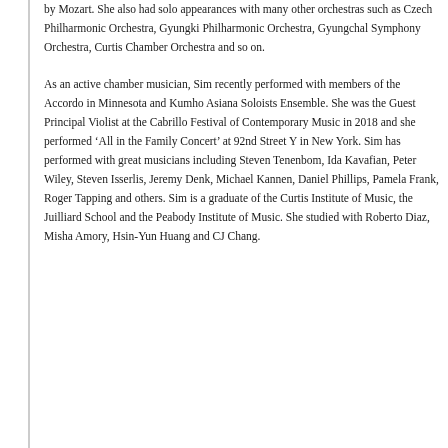by Mozart. She also had solo appearances with many other orchestras such as Czech Philharmonic Orchestra, Gyungki Philharmonic Orchestra, Gyungchal Symphony Orchestra, Curtis Chamber Orchestra and so on.
As an active chamber musician, Sim recently performed with members of the Accordo in Minnesota and Kumho Asiana Soloists Ensemble. She was the Guest Principal Violist at the Cabrillo Festival of Contemporary Music in 2018 and she performed ‘All in the Family Concert’ at 92nd Street Y in New York. Sim has performed with great musicians including Steven Tenenbom, Ida Kavafian, Peter Wiley, Steven Isserlis, Jeremy Denk, Michael Kannen, Daniel Phillips, Pamela Frank, Roger Tapping and others. Sim is a graduate of the Curtis Institute of Music, the Juilliard School and the Peabody Institute of Music. She studied with Roberto Diaz, Misha Amory, Hsin-Yun Huang and CJ Chang.